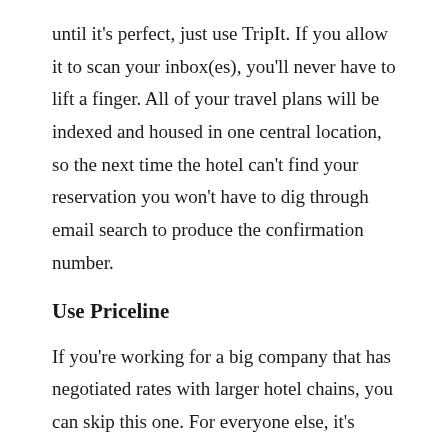until it's perfect, just use TripIt. If you allow it to scan your inbox(es), you'll never have to lift a finger. All of your travel plans will be indexed and housed in one central location, so the next time the hotel can't find your reservation you won't have to dig through email search to produce the confirmation number.
Use Priceline
If you're working for a big company that has negotiated rates with larger hotel chains, you can skip this one. For everyone else, it's worth remembering Priceline's “Name Your Price” feature when it comes to booking hotels (and possibly flights, though my schedule is never flexible enough for that). I pretty regularly save at least 40% or better off listed rates, and have approached